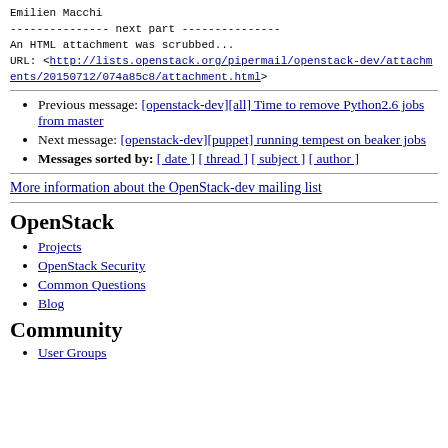Emilien Macchi
--------------- next part ---------------
An HTML attachment was scrubbed...
URL: <http://lists.openstack.org/pipermail/openstack-dev/attachments/20150712/074a85c8/attachment.html>
Previous message: [openstack-dev][all] Time to remove Python2.6 jobs from master
Next message: [openstack-dev][puppet] running tempest on beaker jobs
Messages sorted by: [ date ] [ thread ] [ subject ] [ author ]
More information about the OpenStack-dev mailing list
OpenStack
Projects
OpenStack Security
Common Questions
Blog
Community
User Groups